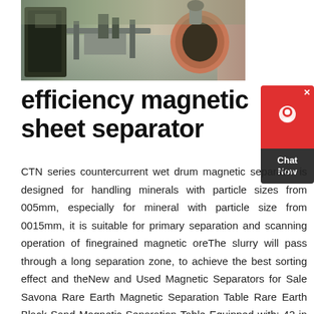[Figure (photo): Aerial view of industrial mineral processing equipment and machinery at a mining or processing facility]
efficiency magnetic sheet separator
CTN series countercurrent wet drum magnetic separator is designed for handling minerals with particle sizes from 005mm, especially for mineral with particle size from 0015mm, it is suitable for primary separation and scanning operation of finegrained magnetic oreThe slurry will pass through a long separation zone, to achieve the best sorting effect and theNew and Used Magnetic Separators for Sale Savona Rare Earth Magnetic Separation Table Rare Earth Black Sand Magnetic Separation Table Equipped with: 42 in m ID: Quote + Eriez 36 in